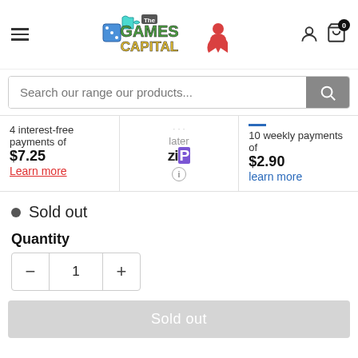[Figure (logo): The Games Capital logo with colorful game pieces]
Search our range our products...
4 interest-free payments of $7.25
Learn more
later
Zip
(info)
10 weekly payments of $2.90
learn more
Sold out
Quantity
1
Sold out